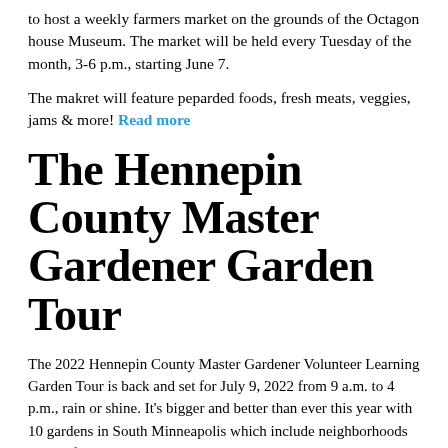to host a weekly farmers market on the grounds of the Octagon house Museum. The market will be held every Tuesday of the month, 3-6 p.m., starting June 7.
The makret will feature peparded foods, fresh meats, veggies, jams & more! Read more
The Hennepin County Master Gardener Garden Tour
The 2022 Hennepin County Master Gardener Volunteer Learning Garden Tour is back and set for July 9, 2022 from 9 a.m. to 4 p.m., rain or shine. It's bigger and better than ever this year with 10 gardens in South Minneapolis which include neighborhoods in Richfield, Tangletown and Hiawatha. Mark your calendar. Even better, call your friends and family and get a group together, buy your tickets and get ready for a fun-filled day of gardening inspiration! Read more